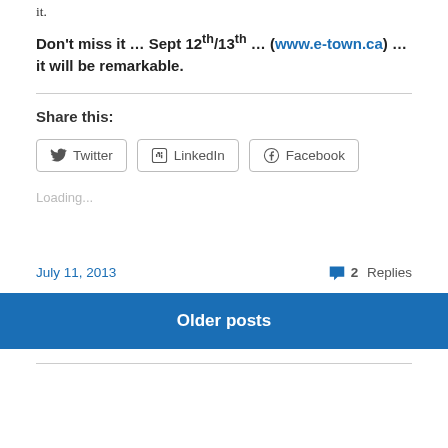it.
Don't miss it … Sept 12th/13th … (www.e-town.ca) … it will be remarkable.
Share this:
Twitter
LinkedIn
Facebook
Loading...
July 11, 2013
2 Replies
Older posts